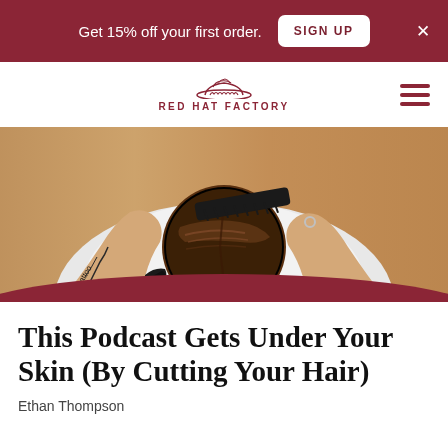Get 15% off your first order. SIGN UP ×
[Figure (logo): Red Hat Factory logo with a hat illustration and stylized text in dark red]
[Figure (photo): Overhead view of a tattooed man with a black wrist cuff combing his own dark hair with a black comb, wearing a white shirt, wooden background]
This Podcast Gets Under Your Skin (By Cutting Your Hair)
Ethan Thompson